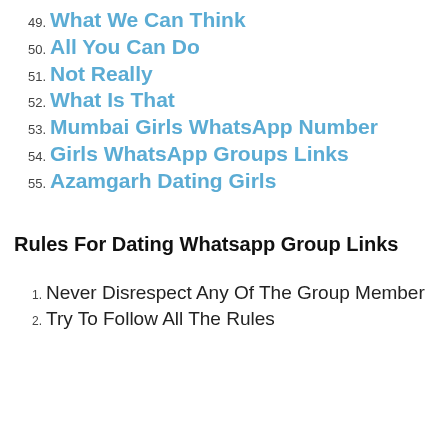49. What We Can Think
50. All You Can Do
51. Not Really
52. What Is That
53. Mumbai Girls WhatsApp Number
54. Girls WhatsApp Groups Links
55. Azamgarh Dating Girls
Rules For Dating Whatsapp Group Links
1. Never Disrespect Any Of The Group Member
2. Try To Follow All The Rules